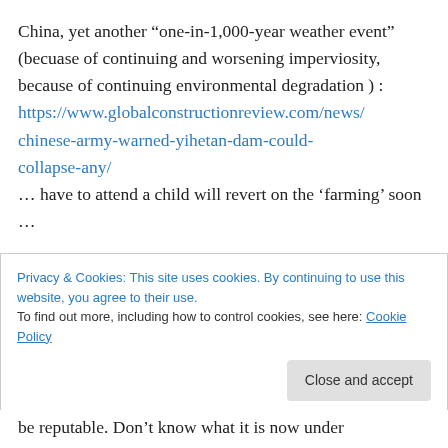China, yet another “one-in-1,000-year weather event” (becuase of continuing and worsening imperviosity, because of continuing environmental degradation ) : https://www.globalconstructionreview.com/news/chinese-army-warned-yihetan-dam-could-collapse-any/
… have to attend a child will revert on the ‘farming’ soon …
Privacy & Cookies: This site uses cookies. By continuing to use this website, you agree to their use. To find out more, including how to control cookies, see here: Cookie Policy
be reputable. Don't know what it is now under